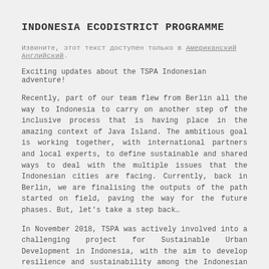INDONESIA ECODISTRICT PROGRAMME
Извините, этот текст доступен только в Американский Английский.
Exciting updates about the TSPA Indonesian adventure!
Recently, part of our team flew from Berlin all the way to Indonesia to carry on another step of the inclusive process that is having place in the amazing context of Java Island. The ambitious goal is working together, with international partners and local experts, to define sustainable and shared ways to deal with the multiple issues that the Indonesian cities are facing. Currently, back in Berlin, we are finalising the outputs of the path started on field, paving the way for the future phases. But, let's take a step back…
In November 2018, TSPA was actively involved into a challenging project for Sustainable Urban Development in Indonesia, with the aim to develop resilience and sustainability among the Indonesian cities.
Under the lead of the Agence Francaise de Development and the